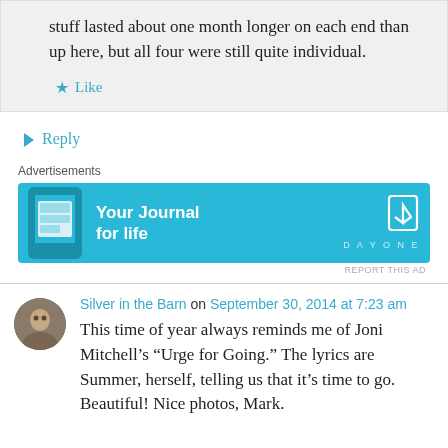stuff lasted about one month longer on each end than up here, but all four were still quite individual.
Like
Reply
Advertisements
[Figure (other): Advertisement banner for 'Day One - Your Journal for life' app with teal/cyan background, phone mockup on left, text in center, bookmark icon and DAYONE logo on right.]
REPORT THIS AD
Silver in the Barn on September 30, 2014 at 7:23 am
This time of year always reminds me of Joni Mitchell's “Urge for Going.” The lyrics are Summer, herself, telling us that it’s time to go. Beautiful! Nice photos, Mark.